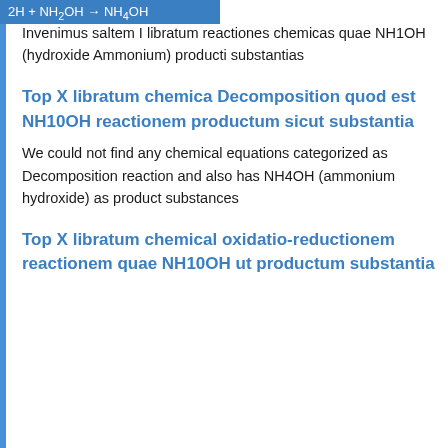2H + NH2OH → NH4OH
Invenimus saltem I libratum reactiones chemicas quae NH1OH (hydroxide Ammonium) producti substantias
Top X libratum chemica Decomposition quod est NH10OH reactionem productum sicut substantia
We could not find any chemical equations categorized as Decomposition reaction and also has NH4OH (ammonium hydroxide) as product substances
Top X libratum chemical oxidatio-reductionem reactionem quae NH10OH ut productum substantia